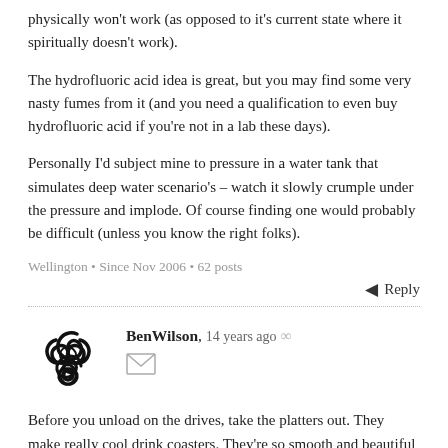physically won't work (as opposed to it's current state where it spiritually doesn't work).
The hydrofluoric acid idea is great, but you may find some very nasty fumes from it (and you need a qualification to even buy hydrofluoric acid if you're not in a lab these days).
Personally I'd subject mine to pressure in a water tank that simulates deep water scenario's – watch it slowly crumple under the pressure and implode. Of course finding one would probably be difficult (unless you know the right folks).
Wellington • Since Nov 2006 • 62 posts
Reply
BenWilson, 14 years ago ∞
Before you unload on the drives, take the platters out. They make really cool drink coasters. They're so smooth and beautiful that everyone wants to know where you got them and how much they